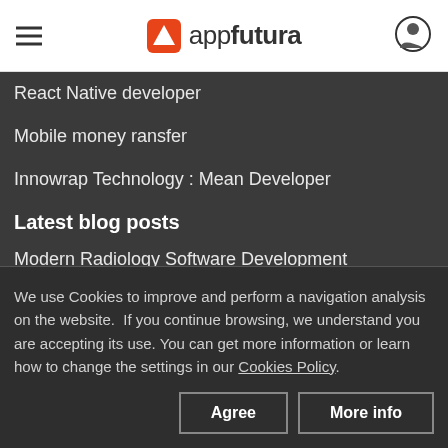appfutura
React Native developer
Mobile money ransfer
Innowrap Technology : Mean Developer
Latest blog posts
Modern Radiology Software Development
Top Web Developers 2022
We use Cookies to improve and perform a navigation analysis on the website. If you continue browsing, we understand you are accepting its use. You can get more information or learn how to change the settings in our Cookies Policy.